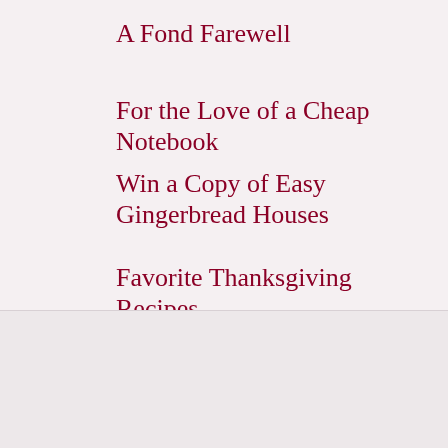A Fond Farewell
For the Love of a Cheap Notebook
Win a Copy of Easy Gingerbread Houses
Favorite Thanksgiving Recipes
A Money Experiment That Might Blow You Away